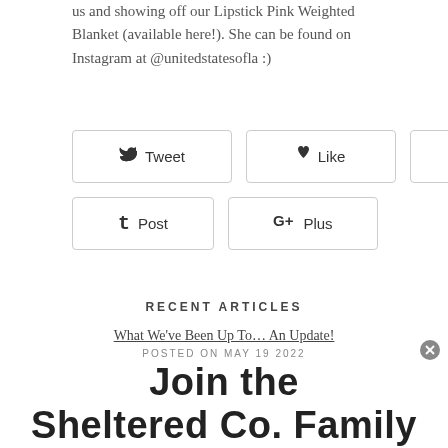us and showing off our Lipstick Pink Weighted Blanket (available here!). She can be found on Instagram at @unitedstatesofla :)
[Figure (infographic): Social sharing buttons: Tweet, Like, Pin, Post, Plus]
RECENT ARTICLES
What We've Been Up To... An Update!
POSTED ON MAY 19 2022
Final Chapter Preview
POSTED ON SEPTEMBER 19 2021
Join the Sheltered Co. Family